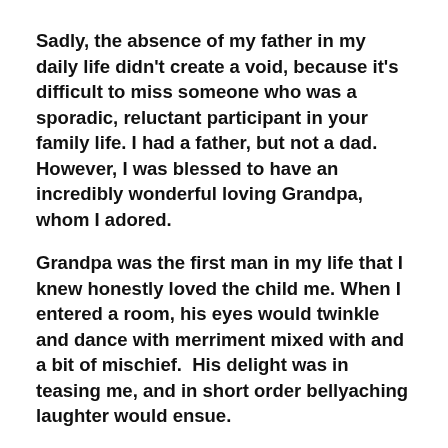Sadly, the absence of my father in my daily life didn't create a void, because it's difficult to miss someone who was a sporadic, reluctant participant in your family life. I had a father, but not a dad. However, I was blessed to have an incredibly wonderful loving Grandpa, whom I adored.
Grandpa was the first man in my life that I knew honestly loved the child me. When I entered a room, his eyes would twinkle and dance with merriment mixed with and a bit of mischief.  His delight was in teasing me, and in short order bellyaching laughter would ensue.
He loved me not because I was special, but his love made me feel special. Isn't that exactly what authentic love should do? It should be transforming, causing